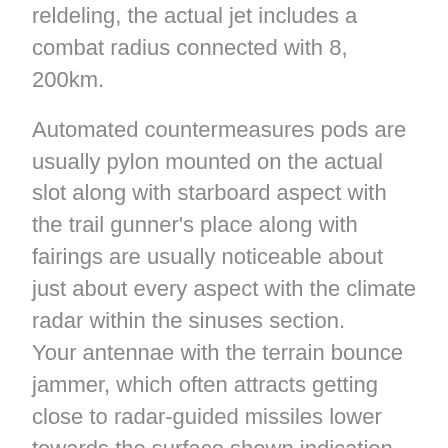reldeling, the actual jet includes a combat radius connected with 8, 200km.
Automated countermeasures pods are usually pylon mounted on the actual slot along with starboard aspect with the trail gunner's place along with fairings are usually noticeable about just about every aspect with the climate radar within the sinuses section.
Your antennae with the terrain bounce jammer, which often attracts getting close to radar-guided missiles lower towards the surface shown indication along with far from the actual jet, are usually set up within the underside with the sinuses along with beneath the back portion of the actual fuselage.
Radar alert receiver antennae are usually set up within the udemrket along with about the two sides with the entry fuselage.
Your APP-50 chaff along with pazazz decoy dispensers is usually